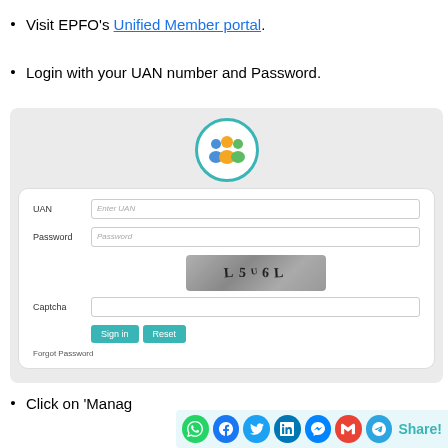Visit EPFO's Unified Member portal.
Login with your UAN number and Password.
[Figure (screenshot): EPFO Unified Member Portal login form with UAN field, Password field, CAPTCHA image showing 'L 5 U 6 L', Captcha input field, Sign in and Reset buttons, and Forgot Password link.]
Click on 'Manag…